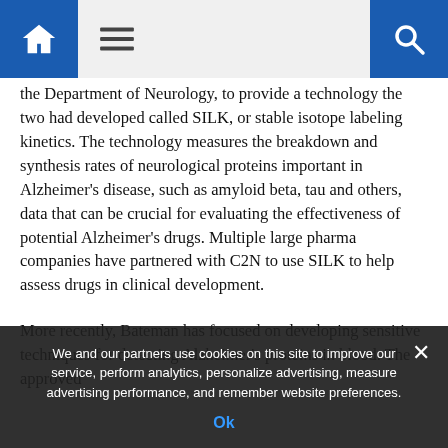[Navigation bar with home, menu, and search icons]
the Department of Neurology, to provide a technology the two had developed called SILK, or stable isotope labeling kinetics. The technology measures the breakdown and synthesis rates of neurological proteins important in Alzheimer's disease, such as amyloid beta, tau and others, data that can be crucial for evaluating the effectiveness of potential Alzheimer's drugs. Multiple large pharma companies have partnered with C2N to use SILK to help assess drugs in clinical development.
More recently, Bateman has focused on developing sensitive techniques for detecting Alzheimer's proteins in blood. The approved
We and our partners use cookies on this site to improve our service, perform analytics, personalize advertising, measure advertising performance, and remember website preferences.
Ok